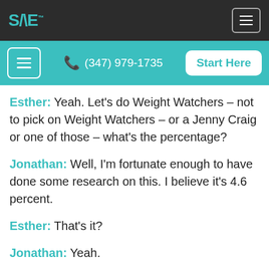SANE (logo) | menu button
menu | (347) 979-1735 | Start Here
Esther: Yeah. Let's do Weight Watchers – not to pick on Weight Watchers – or a Jenny Craig or one of those – what's the percentage?
Jonathan: Well, I'm fortunate enough to have done some research on this. I believe it's 4.6 percent.
Esther: That's it?
Jonathan: Yeah.
Esther: Wow. Over what period of time?